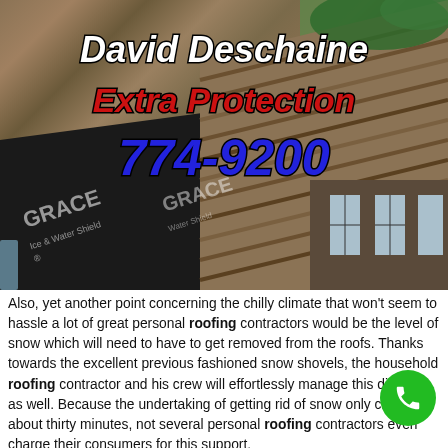[Figure (photo): Aerial/overhead photo of a residential rooftop showing Grace Ice & Water Shield waterproofing membrane (black) alongside brown/tan shingles. Trees and a yard are visible in the background. Overlaid text reads: David Deschaine / Extra Protection / 774-9200]
Also, yet another point concerning the chilly climate that won't seem to hassle a lot of great personal roofing contractors would be the level of snow which will need to have to get removed from the roofs. Thanks towards the excellent previous fashioned snow shovels, the household roofing contractor and his crew will effortlessly manage this dilemma as well. Because the undertaking of getting rid of snow only can take about thirty minutes, not several personal roofing contractors even charge their consumers for this support.